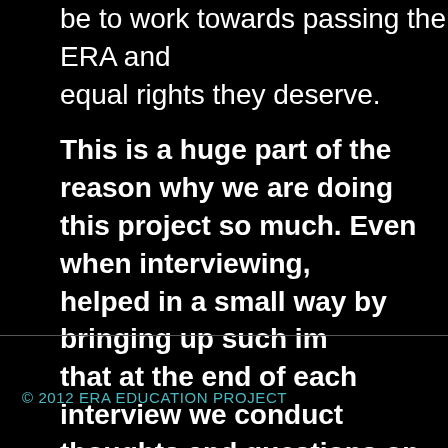be to work towards passing the ERA and equal rights they deserve.
This is a huge part of the reason why we are doing this project so much. Even when interviewing, we helped in a small way by bringing up such important topics that at the end of each interview we conduct people had thoughts and questions on their minds and may follow up to friends. Then a new cycle will begin- a new
© 2012 ERA EDUCATION PROJECT